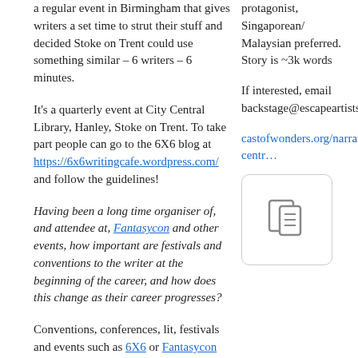a regular event in Birmingham that gives writers a set time to strut their stuff and decided Stoke on Trent could use something similar – 6 writers – 6 minutes.
It's a quarterly event at City Central Library, Hanley, Stoke on Trent. To take part people can go to the 6X6 blog at https://6x6writingcafe.wordpress.com/ and follow the guidelines!
Having been a long time organiser of, and attendee at, Fantasycon and other events, how important are festivals and conventions to the writer at the beginning of the career, and how does this change as their career progresses?
Conventions, conferences, lit, festivals  and events such as 6X6 or Fantasycon are all great
protagonist, Singaporean/Malaysian preferred. Story is ~3k words
If interested, email backstage@escapeartists.net
castofwonders.org/narrator-centr…
[Figure (other): Document icon in a rounded rectangle box]